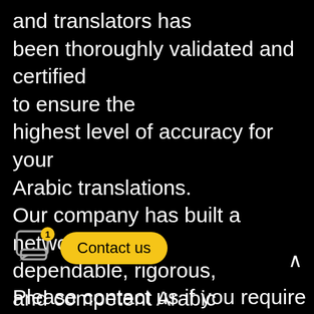and translators has been thoroughly validated and certified to ensure the highest level of accuracy for your Arabic translations. Our company has built a network of dependable, rigorous, and competent Arabic translators. DXB offers customer service support 24 hours a day, seven days a week in Dubai and other parts
[Figure (screenshot): UI overlay showing a chat icon with badge count of 1 and a 'Contact us' yellow pill button, plus a scroll-up arrow on the right]
Please contact us if you require